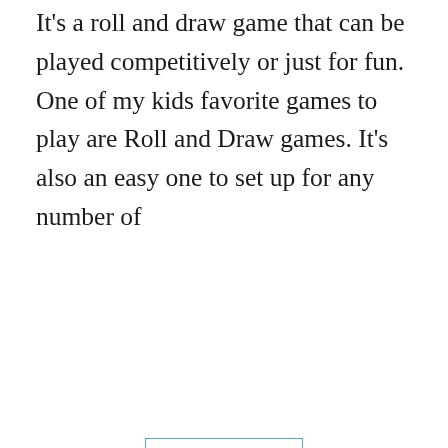It's a roll and draw game that can be played competitively or just for fun. One of my kids favorite games to play are Roll and Draw games. It's also an easy one to set up for any number of
[ READ MORE ]
FILED UNDER: PRINTABLES, SPRING
[Figure (photo): Advertisement banner showing a pink object on a cream/beige background with a close button (X) in the top corner]
[Figure (photo): Dark advertisement bar with a rainbow illustration and #ViralKindness text in white italic on a dark grey/black background, with close buttons]